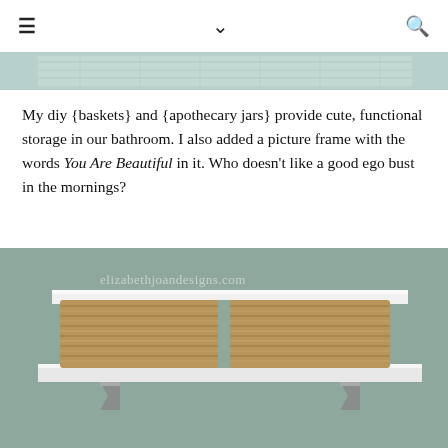≡  ∨  🔍
[Figure (photo): Partial top edge of a decorative bathroom shelf photo]
My diy {baskets} and {apothecary jars} provide cute, functional storage in our bathroom. I also added a picture frame with the words You Are Beautiful in it. Who doesn't like a good ego bust in the mornings?
[Figure (photo): Photo of a white bathroom shelf with two wicker/rope-wrapped baskets sitting on it, mounted with metal brackets against a grey-green wall. Watermark reads elizabethjoandesigns.com]